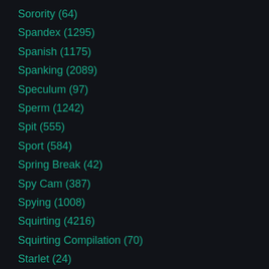Sorority (64)
Spandex (1295)
Spanish (1175)
Spanking (2089)
Speculum (97)
Sperm (1242)
Spit (555)
Sport (584)
Spring Break (42)
Spy Cam (387)
Spying (1008)
Squirting (4216)
Squirting Compilation (70)
Starlet (24)
Stewardess (50)
Stockings (6143)